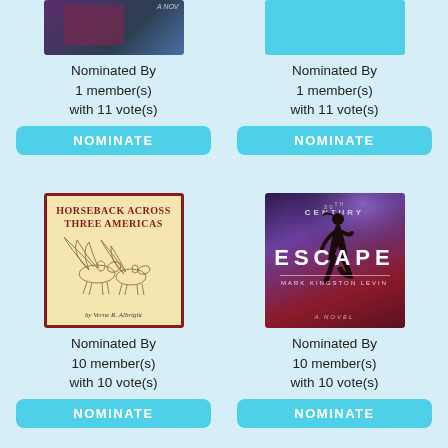[Figure (illustration): Partially visible book cover, dark purple and teal colors, top portion cut off]
Nominated By
1 member(s)
with 11 vote(s)
NOMINATE
[Figure (illustration): Partially visible book cover, solid cyan/teal color block, top portion cut off]
Nominated By
1 member(s)
with 11 vote(s)
NOMINATE
[Figure (illustration): Book cover: Horseback Across Three Americas by Verne R. Albright, beige background with red border, pencil sketch of horses with wings]
Nominated By
10 member(s)
with 10 vote(s)
NOMINATE
[Figure (illustration): Book cover: 30th Century Escape by Mark Kingston Levin, dark purple and red background with silhouette of running figure]
Nominated By
10 member(s)
with 10 vote(s)
NOMINATE